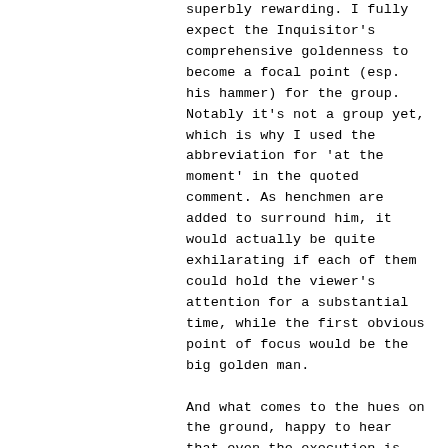superbly rewarding. I fully expect the Inquisitor's comprehensive goldenness to become a focal point (esp. his hammer) for the group. Notably it's not a group yet, which is why I used the abbreviation for 'at the moment' in the quoted comment. As henchmen are added to surround him, it would actually be quite exhilarating if each of them could hold the viewer's attention for a substantial time, while the first obvious point of focus would be the big golden man.

And what comes to the hues on the ground, happy to hear that even the execution is identical. I just can't wait the world to bleed a bit on to